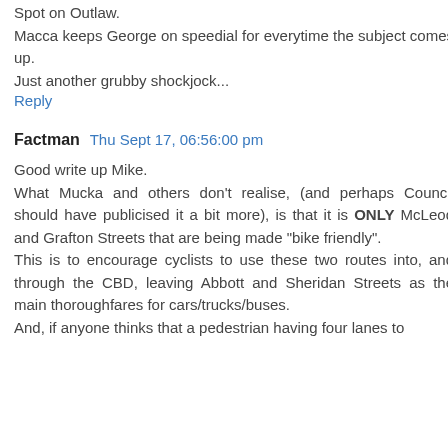Spot on Outlaw.
Macca keeps George on speedial for everytime the subject comes up.
Just another grubby shockjock...
Reply
Factman  Thu Sept 17, 06:56:00 pm
Good write up Mike.
What Mucka and others don't realise, (and perhaps Council should have publicised it a bit more), is that it is ONLY McLeod and Grafton Streets that are being made "bike friendly".
This is to encourage cyclists to use these two routes into, and through the CBD, leaving Abbott and Sheridan Streets as the main thoroughfares for cars/trucks/buses.
And, if anyone thinks that a pedestrian having four lanes to